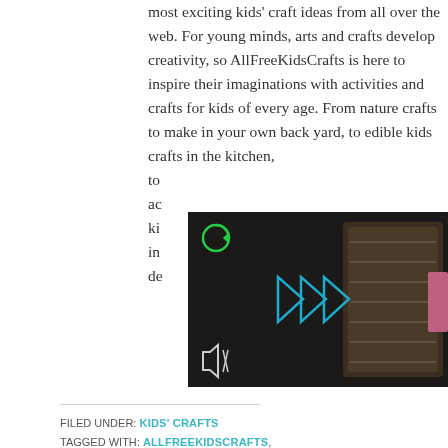most exciting kids' craft ideas from all over the web. For young minds, arts and crafts develop creativity, so AllFreeKidsCrafts is here to inspire their imaginations with activities and crafts for kids of every age. From nature crafts to make in your own back yard, to edible kids crafts in the kitchen, to ... ad... ki... in... de...
[Figure (screenshot): Video player overlay showing a dark background with blue fast-forward/play icon in the center, a green refresh/reload icon in the upper left, and a mute icon in the lower left. The background shows a partial image of a craft item.]
FILED UNDER: KIDS' CRAFTS
TAGGED WITH: ALLFREEKIDSCRAFTS, CHELSEA SCARNEGIE, EASY CRAFTS FOR KIDS, KIDSLCRAFTS, POP CULTURE